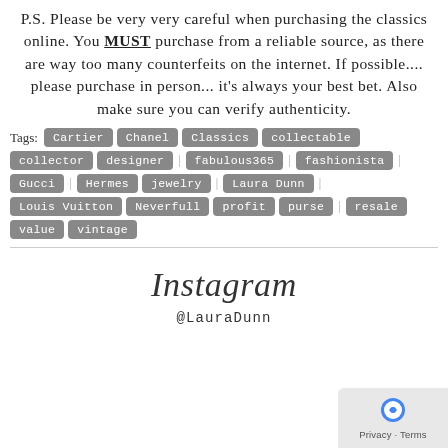P.S. Please be very very careful when purchasing the classics online. You MUST purchase from a reliable source, as there are way too many counterfeits on the internet. If possible.... please purchase in person... it's always your best bet. Also make sure you can verify authenticity.
Tags: Cartier Chanel Classics collectable collector designer fabulous365 fashionista Gucci Hermes jewelry Laura Dunn Louis Vuitton Neverfull profit purse resale value vintage
[Figure (other): Instagram script logotype text]
@LauraDunn
[Figure (other): Google reCAPTCHA / Privacy - Terms badge in bottom right corner]